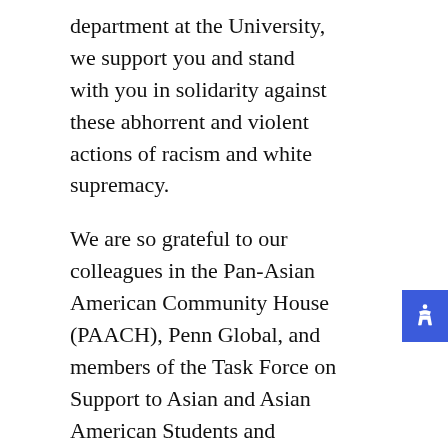department at the University, we support you and stand with you in solidarity against these abhorrent and violent actions of racism and white supremacy.
We are so grateful to our colleagues in the Pan-Asian American Community House (PAACH), Penn Global, and members of the Task Force on Support to Asian and Asian American Students and Scholars (TAAAS) for their work on addressing this ongoing crisis. Please visit the TAAAS website to learn more about this work and the FlattenTheHate campaign.